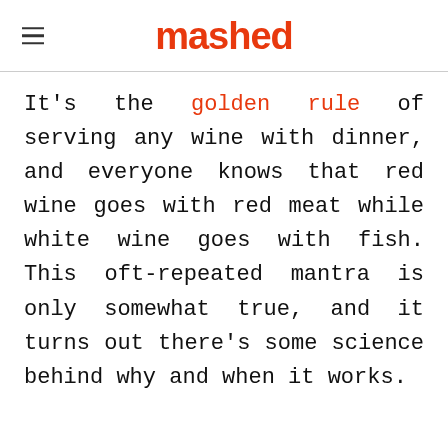mashed
It's the golden rule of serving any wine with dinner, and everyone knows that red wine goes with red meat while white wine goes with fish. This oft-repeated mantra is only somewhat true, and it turns out there’s some science behind why and when it works.